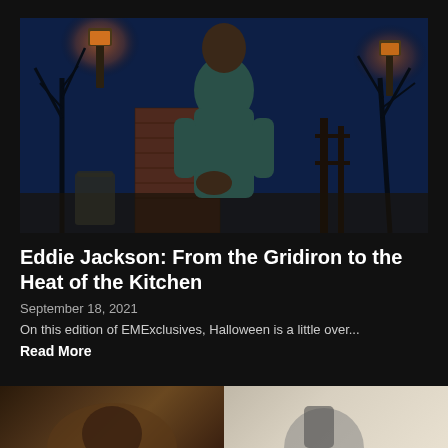[Figure (photo): Man in teal long-sleeve shirt standing in front of a Halloween-themed backdrop with glowing lanterns, brick wall, bare trees, and tombstones. Dark blue night atmosphere.]
Eddie Jackson: From the Gridiron to the Heat of the Kitchen
September 18, 2021
On this edition of EMExclusives, Halloween is a little over...
Read More
[Figure (photo): Partial view of two images side by side at the bottom of the page — left side shows a dark brownish image, right side shows a lighter image with a figure.]